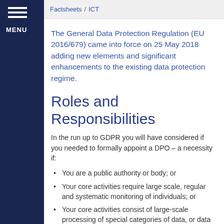Factsheets / ICT
The General Data Protection Regulation (EU 2016/679) came into force on 25 May 2018 adding new elements and significant enhancements to the existing data protection regime.
Roles and Responsibilities
In the run up to GDPR you will have considered if you needed to formally appoint a DPO – a necessity if:
You are a public authority or body; or
Your core activities require large scale, regular and systematic monitoring of individuals; or
Your core activities consist of large-scale processing of special categories of data, or data